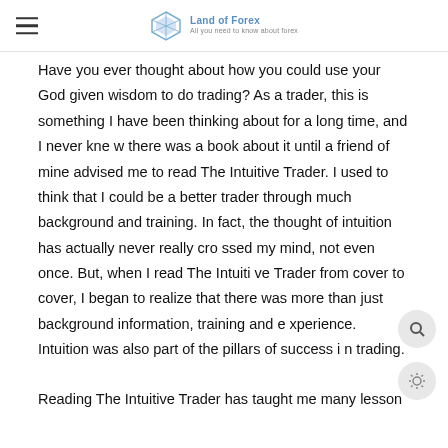Land of Forex — All you need to know about forex
Have you ever thought about how you could use your God given wisdom to do trading? As a trader, this is something I have been thinking about for a long time, and I never knew there was a book about it until a friend of mine advised me to read The Intuitive Trader. I used to think that I could be a better trader through much background and training. In fact, the thought of intuition has actually never really crossed my mind, not even once. But, when I read The Intuitive Trader from cover to cover, I began to realize that there was more than just background information, training and experience. Intuition was also part of the pillars of success in trading.
Reading The Intuitive Trader has taught me many lesson